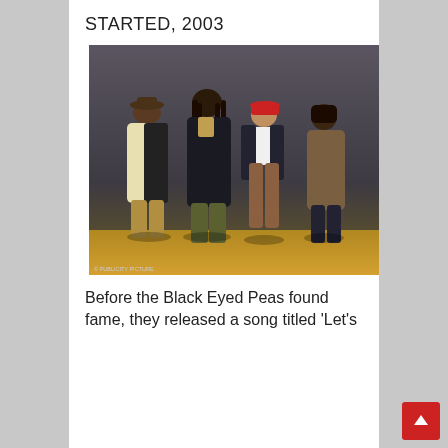STARTED, 2003
[Figure (photo): Four members of the Black Eyed Peas posing in a promotional photo against a dark grey background with a yellow floor. The group members wear stylish outfits including a hat and sunglasses, leather jackets, a red cap, and casual wear. A watermark reads '© PUBLICITY PICTURE'.]
Before the Black Eyed Peas found fame, they released a song titled 'Let's Get It Started' in 2003, which became a huge hit.